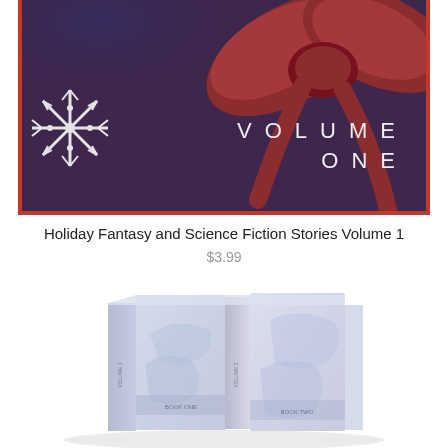[Figure (illustration): Book cover for Holiday Fantasy and Science Fiction Stories Volume 1. Dark purple/mauve background with red poinsettia bow at top, white snowflake icon on left, and 'VOLUME ONE' text in spaced white letters on right.]
Holiday Fantasy and Science Fiction Stories Volume 1
$3.99
[Figure (illustration): A 3D box set of books shown at an angle with white/grey covers featuring fantasy/sci-fi artwork including what appears to be mythical creatures or dragons.]